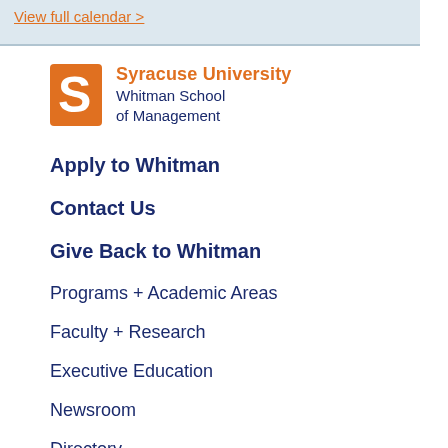View full calendar >
[Figure (logo): Syracuse University Whitman School of Management logo with orange S and text]
Apply to Whitman
Contact Us
Give Back to Whitman
Programs + Academic Areas
Faculty + Research
Executive Education
Newsroom
Directory
Apply Now